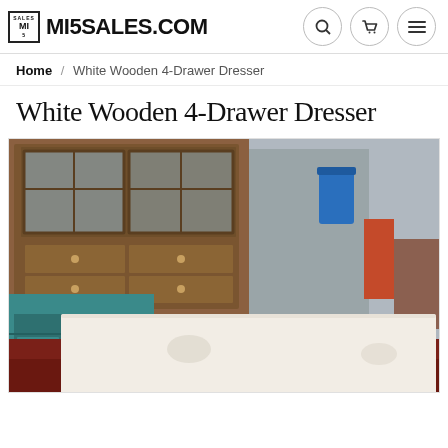MI5SALES.COM
Home / White Wooden 4-Drawer Dresser
White Wooden 4-Drawer Dresser
[Figure (photo): Photo of a white wooden 4-drawer dresser. The top of the dresser is visible in the foreground (whitish wood surface with some marks). Behind it to the left is a large brown wooden hutch/cabinet with glass-front upper doors and drawers below, and a teal/turquoise console table. The background shows an indoor storage or garage space with a reddish floor, a blue trash can, and various items.]